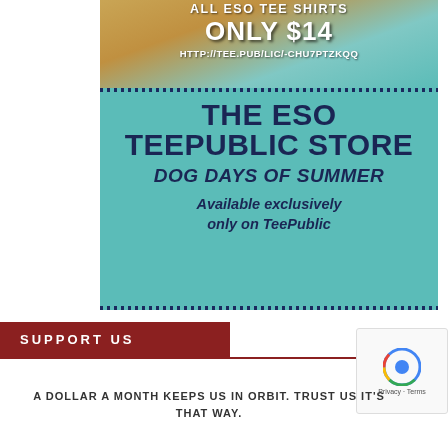[Figure (illustration): Advertisement for The ESO TeePublic Store - Dog Days of Summer. Teal/turquoise background with large dark navy text. Top portion shows a dog on a pool float with text 'ALL ESO TEE SHIRTS ONLY $14' and URL 'HTTP://TEE.PUB/LIC/-CHU7PTZKQQ'. Main body reads 'THE ESO TEEPUBLIC STORE', 'DOG DAYS OF SUMMER', 'Available exclusively only on TeePublic'. Dotted borders at top and bottom of main panel.]
SUPPORT US
A DOLLAR A MONTH KEEPS US IN ORBIT. TRUST US IT'S THAT WAY.